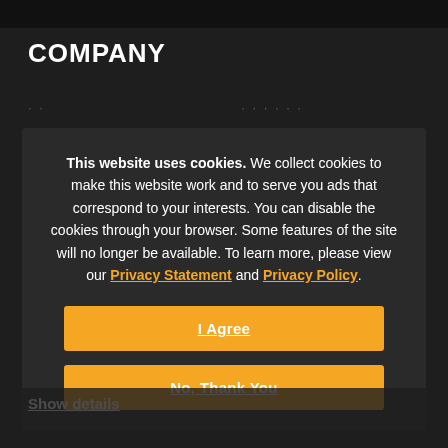p
COMPANY
· · · · · · · · ·          · · · · · ·
This website uses cookies. We collect cookies to make this website work and to serve you ads that correspond to your interests. You can disable the cookies through your browser. Some features of the site will no longer be available. To learn more, please view our Privacy Statement and Privacy Policy.
I Agree
No, Thank You
Show details